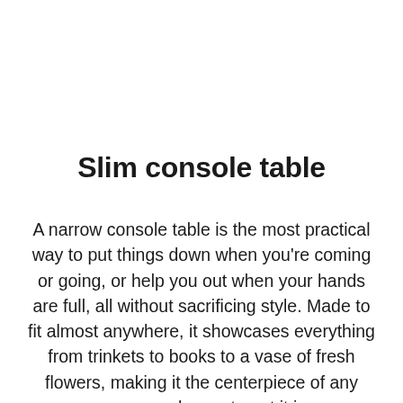Slim console table
A narrow console table is the most practical way to put things down when you're coming or going, or help you out when your hands are full, all without sacrificing style. Made to fit almost anywhere, it showcases everything from trinkets to books to a vase of fresh flowers, making it the centerpiece of any room you choose to put it in.